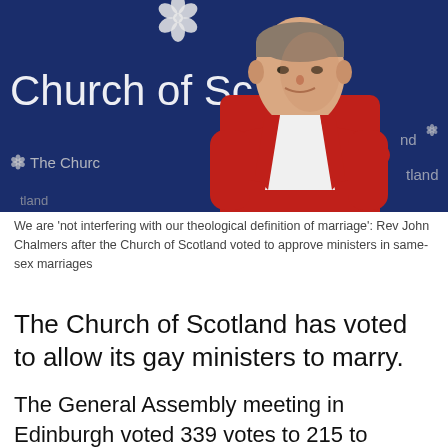[Figure (photo): A man in a red clerical robe with white collar tabs stands in front of a Church of Scotland banner backdrop]
We are 'not interfering with our theological definition of marriage': Rev John Chalmers after the Church of Scotland voted to approve ministers in same-sex marriages
The Church of Scotland has voted to allow its gay ministers to marry.
The General Assembly meeting in Edinburgh voted 339 votes to 215 to update church law to bring it in